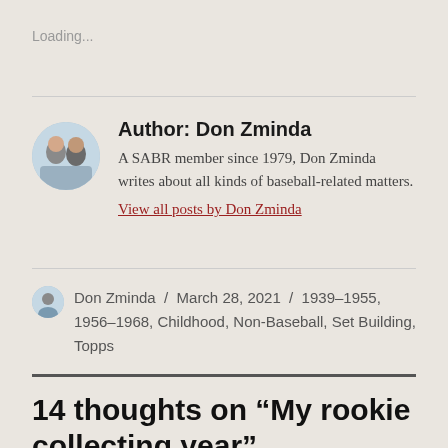Loading...
Author: Don Zminda
A SABR member since 1979, Don Zminda writes about all kinds of baseball-related matters.
View all posts by Don Zminda
Don Zminda / March 28, 2021 / 1939–1955, 1956–1968, Childhood, Non-Baseball, Set Building, Topps
14 thoughts on “My rookie collecting year”